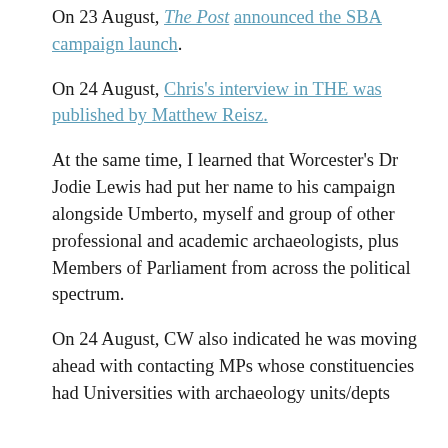On 23 August, The Post announced the SBA campaign launch.
On 24 August, Chris's interview in THE was published by Matthew Reisz.
At the same time, I learned that Worcester's Dr Jodie Lewis had put her name to his campaign alongside Umberto, myself and group of other professional and academic archaeologists, plus Members of Parliament from across the political spectrum.
On 24 August, CW also indicated he was moving ahead with contacting MPs whose constituencies had Universities with archaeology units/depts across the UK. I offered to assist in finding...